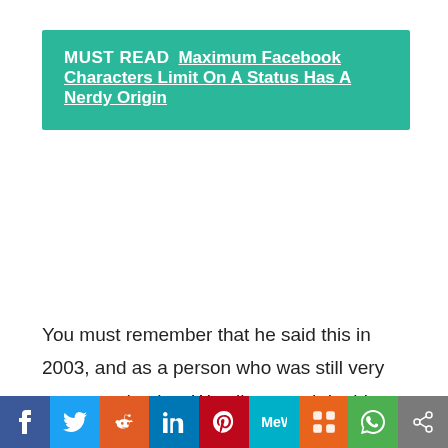MUST READ  Maximum Facebook Characters Limit On A Status Has A Nerdy Origin
You must remember that he said this in 2003, and as a person who was still very young and naive. We all say and do things when we are young, and as we grow older we are glad that everyone has forgotten about it. In this case however, the fact that Facebook has gone onto huge success has ensured that the silly things that Zuckerberg has said in the past, both
[Figure (infographic): Social media sharing bar with icons for Facebook, Twitter, Reddit, LinkedIn, Pinterest, MeWe, Mix, WhatsApp, and Share]